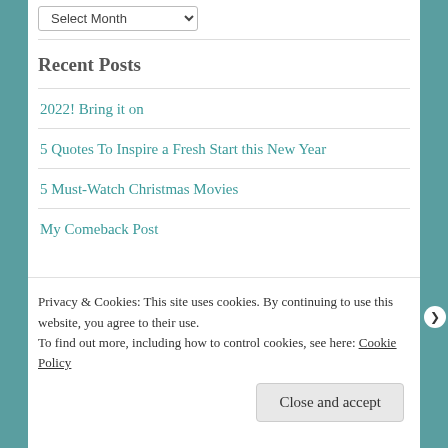[Figure (screenshot): Dropdown select element labeled 'Select Month' with a chevron arrow]
Recent Posts
2022! Bring it on
5 Quotes To Inspire a Fresh Start this New Year
5 Must-Watch Christmas Movies
My Comeback Post
Privacy & Cookies: This site uses cookies. By continuing to use this website, you agree to their use.
To find out more, including how to control cookies, see here: Cookie Policy
Close and accept